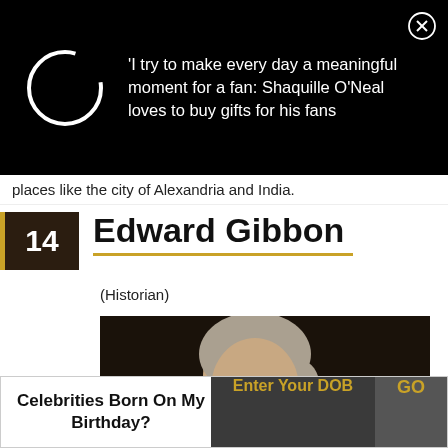[Figure (screenshot): Ad banner with circle loading icon and quote text about Shaquille O'Neal buying gifts for fans, on black background]
places like the city of Alexandria and India.
14  Edward Gibbon (Historian)
[Figure (photo): Portrait painting of Edward Gibbon, an 18th century historian, shown in three-quarter profile with powdered wig against dark background]
Celebrities Born On My Birthday?  Enter Your DOB  GO